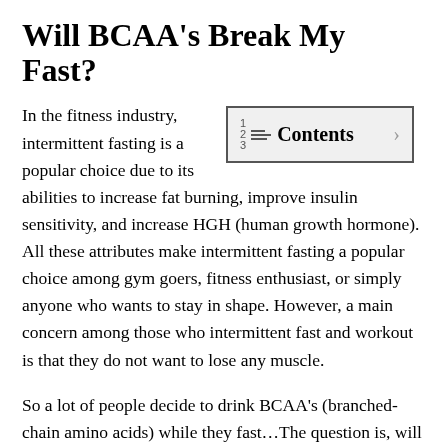Will BCAA’s Break My Fast?
In the fitness industry, intermittent fasting is a popular choice due to its abilities to increase fat burning, improve insulin sensitivity, and increase HGH (human growth hormone). All these attributes make intermittent fasting a popular choice among gym goers, fitness enthusiast, or simply anyone who wants to stay in shape. However, a main concern among those who intermittent fast and workout is that they do not want to lose any muscle.
So a lot of people decide to drink BCAA’s (branched-chain amino acids) while they fast…The question is, will these amino acids break your fast?